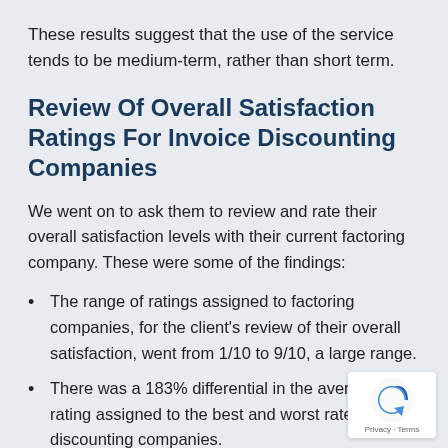These results suggest that the use of the service tends to be medium-term, rather than short term.
Review Of Overall Satisfaction Ratings For Invoice Discounting Companies
We went on to ask them to review and rate their overall satisfaction levels with their current factoring company. These were some of the findings:
The range of ratings assigned to factoring companies, for the client's review of their overall satisfaction, went from 1/10 to 9/10, a large range.
There was a 183% differential in the average rating assigned to the best and worst rated invoice discounting companies.